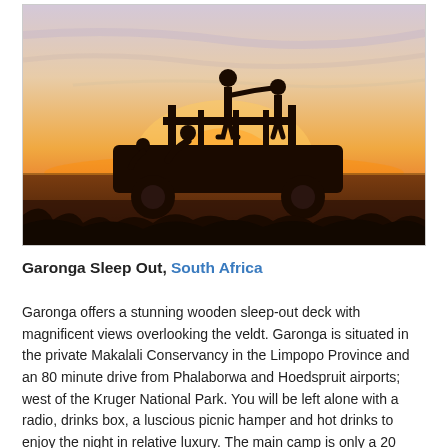[Figure (photo): Silhouette of people on a safari vehicle against a golden sunset sky over the African veldt]
Garonga Sleep Out, South Africa
Garonga offers a stunning wooden sleep-out deck with magnificent views overlooking the veldt. Garonga is situated in the private Makalali Conservancy in the Limpopo Province and an 80 minute drive from Phalaborwa and Hoedspruit airports; west of the Kruger National Park. You will be left alone with a radio, drinks box, a luscious picnic hamper and hot drinks to enjoy the night in relative luxury. The main camp is only a 20